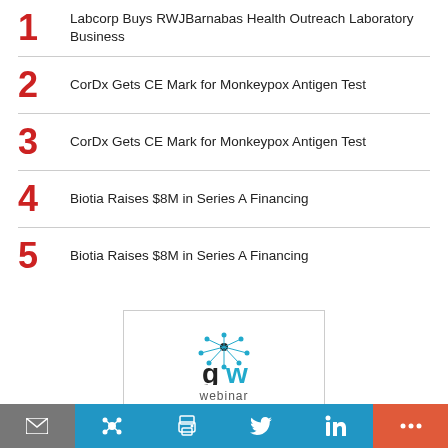1 Labcorp Buys RWJBarnabas Health Outreach Laboratory Business
2 CorDx Gets CE Mark for Monkeypox Antigen Test
3 CorDx Gets CE Mark for Monkeypox Antigen Test
4 Biotia Raises $8M in Series A Financing
5 Biotia Raises $8M in Series A Financing
[Figure (logo): GenomeWeb webinar advertisement featuring gw logo with network graphic, text 'GenomeWeb and Illumina invite you to' with teal bottom banner]